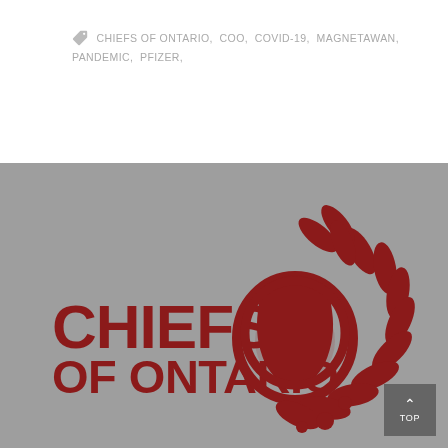CHIEFS OF ONTARIO, COO, COVID-19, MAGNETAWAN, PANDEMIC, PFIZER,
[Figure (logo): Chiefs of Ontario logo on grey background: red silhouette of Indigenous chief with headdress feathers and a globe motif, with text 'CHIEFS OF ONTARIO' in red to the left]